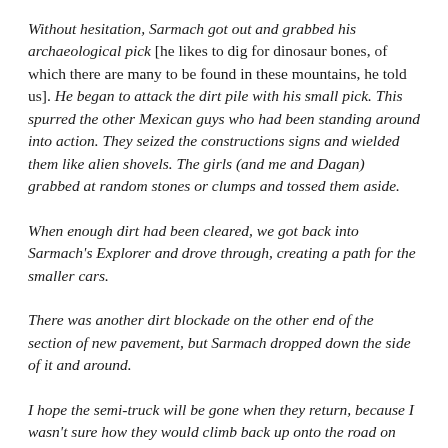Without hesitation, Sarmach got out and grabbed his archaeological pick [he likes to dig for dinosaur bones, of which there are many to be found in these mountains, he told us]. He began to attack the dirt pile with his small pick. This spurred the other Mexican guys who had been standing around into action. They seized the constructions signs and wielded them like alien shovels. The girls (and me and Dagan) grabbed at random stones or clumps and tossed them aside.
When enough dirt had been cleared, we got back into Sarmach's Explorer and drove through, creating a path for the smaller cars.
There was another dirt blockade on the other end of the section of new pavement, but Sarmach dropped down the side of it and around.
I hope the semi-truck will be gone when they return, because I wasn't sure how they would climb back up onto the road on